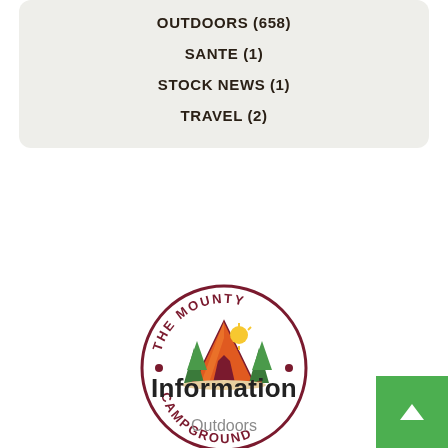OUTDOORS (658)
SANTE (1)
STOCK NEWS (1)
TRAVEL (2)
[Figure (logo): The Mounty Campground circular logo with tent and trees illustration in orange and red tones]
Information
Outdoors